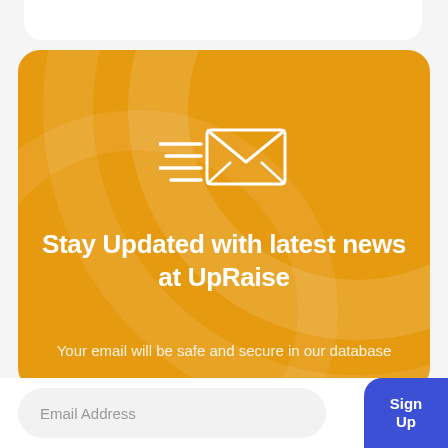[Figure (illustration): Email/newsletter signup widget with an orange card background, an envelope with speed lines icon, headline text, subtitle text, email input field, and a blue Sign Up button]
Stay Updated with latest news at UpRaise
Your email will be safe and secure in our database
Email Address
Sign Up